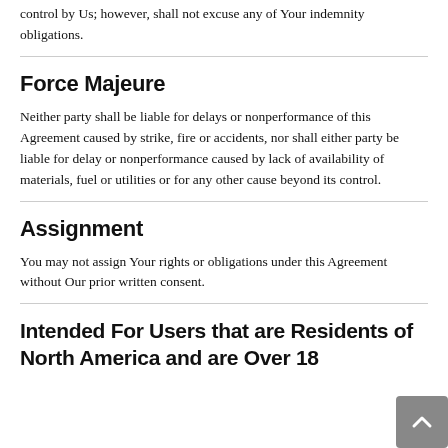control by Us; however, shall not excuse any of Your indemnity obligations.
Force Majeure
Neither party shall be liable for delays or nonperformance of this Agreement caused by strike, fire or accidents, nor shall either party be liable for delay or nonperformance caused by lack of availability of materials, fuel or utilities or for any other cause beyond its control.
Assignment
You may not assign Your rights or obligations under this Agreement without Our prior written consent.
Intended For Users that are Residents of North America and are Over 18